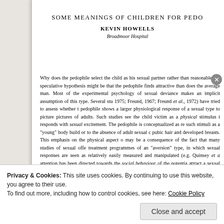SOME MEANINGS OF CHILDREN FOR PEDO...
KEVIN HOWELLS
Broadmoor Hospital
Why does the pedophile select the child as his sexual partner rather than reasonable but speculative hypothesis might be that the pedophile finds attractive than does the average man. Most of the experimental psychology of sexual deviance makes an implicit assumption of this type. Several studies 1975; Freund, 1967; Freund et al., 1972) have tried to assess whether the pedophile shows a larger physiological response of a sexual type to pictures pictures of adults. Such studies see the child victim as a physical stimulus to responds with sexual excitement. The pedophile is conceptualized as responding such stimuli as a "young" body build or to the absence of adult sexual characteristics pubic hair and developed breasts. This emphasis on the physical aspect of may be a consequence of the fact that many studies of sexual offenders treatment programmes of an "aversion" type, in which sexual responses are seen as relatively easily measured and manipulated (e.g. Quinsey et al. attention has been directed towards the social behaviour of the potential attract a sexual offender, though Freund et al. (1972) have suggested...
Privacy & Cookies: This site uses cookies. By continuing to use this website, you agree to their use.
To find out more, including how to control cookies, see here: Cookie Policy
Close and accept